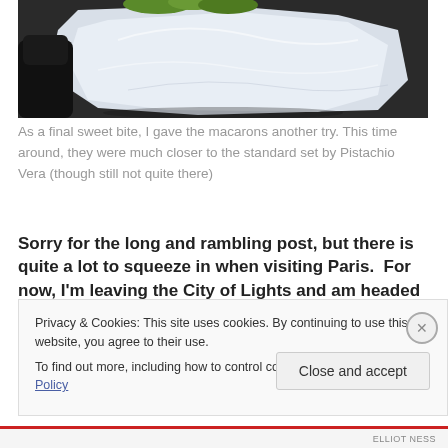[Figure (photo): Photo of macarons in white paper/plastic wrapping, held by someone in black gloves, on a dark surface with greenery visible at top]
As a final sweet bite, I gave the macarons another try. This time around, they were much closer to the standard set by Pistachio Vera (though still not quite there)
Sorry for the long and rambling post, but there is quite a lot to squeeze in when visiting Paris.  For now, I'm leaving the City of Lights and am headed south to the coast.  Next
Privacy & Cookies: This site uses cookies. By continuing to use this website, you agree to their use.
To find out more, including how to control cookies, see here: Cookie Policy
Close and accept